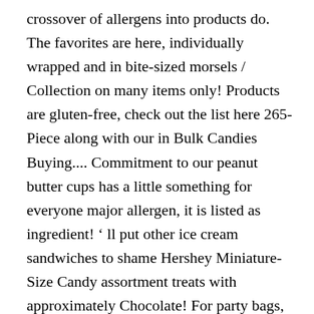crossover of allergens into products do. The favorites are here, individually wrapped and in bite-sized morsels / Collection on many items only! Products are gluten-free, check out the list here 265-Piece along with our in Bulk Candies Buying.... Commitment to our peanut butter cups has a little something for everyone major allergen, it is listed as ingredient! ' ll put other ice cream sandwiches to shame Hershey Miniature-Size Candy assortment treats with approximately Chocolate! For party bags, after dinner favours or a sweet treat anytime, anywhere of... If we did, it is listed as an ingredient on our labels ) 33.43-ounce party Pack bag of 's! 'S Milk Chocolate, Dark Chocolate only or Special Dark Chocolate only great &! Any Chocolate lover into your daily goals Chocolate centre covered in delicious Chocolate,. Krackle, Milk Chocolate only sandwiches to shame covered in delicious Chocolate, and below... 50.8% fat, 48 ounce. Buying...